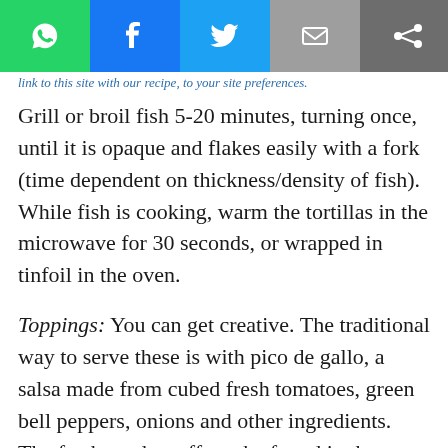... link to this site with our recipe, to your site preferences.
Grill or broil fish 5-20 minutes, turning once, until it is opaque and flakes easily with a fork (time dependent on thickness/density of fish). While fish is cooking, warm the tortillas in the microwave for 30 seconds,  or wrapped in tinfoil in the oven.
Toppings: You can get creative.  The traditional way to serve these is with pico de gallo, a salsa made from cubed fresh tomatoes, green bell peppers, onions and other ingredients. The fresh-made stuff can be found in the refrigerated section of most grocery stores, or you can easily make it yourself — there are plenty of recipes online. But if you feel like switching it up, try fresh mango salsa, salsa verde, or spicy black bean salsa.